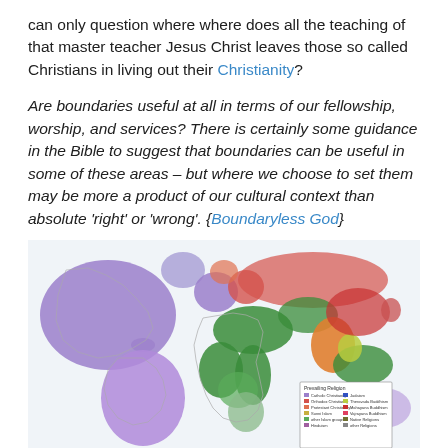can only question where where does all the teaching of that master teacher Jesus Christ leaves those so called Christians in living out their Christianity?
Are boundaries useful at all in terms of our fellowship, worship, and services? There is certainly some guidance in the Bible to suggest that boundaries can be useful in some of these areas – but where we choose to set them may be more a product of our cultural context than absolute 'right' or 'wrong'. {Boundaryless God}
[Figure (map): World map showing prevailing religions by country/region. Colors indicate Catholic Christianity (purple/blue in Americas and parts of Europe), Orthodox Christianity, Protestant Christianity, Sunni Islam (green across Middle East and Africa), other Islam groups, Hinduism (orange in South Asia), Judaism, Theravada Buddhism, Mahayana Buddhism, Vajrayana Buddhism, Native Religions, and Other Religions. A legend box in the lower right area labels each color.]